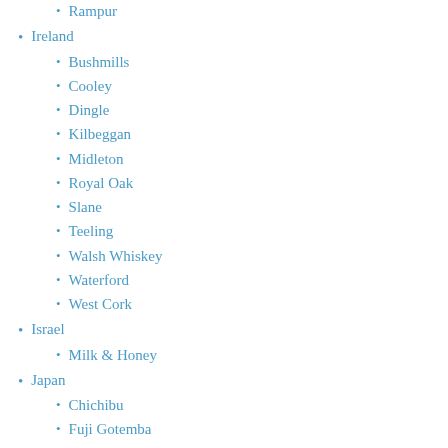Rampur
Ireland
Bushmills
Cooley
Dingle
Kilbeggan
Midleton
Royal Oak
Slane
Teeling
Walsh Whiskey
Waterford
West Cork
Israel
Milk & Honey
Japan
Chichibu
Fuji Gotemba
Hakushu
Kaikyo
Karuizawa
Miyagikyo
Shinshu Mars
White Oak
Yamazaki
Yoichi
Netherlands